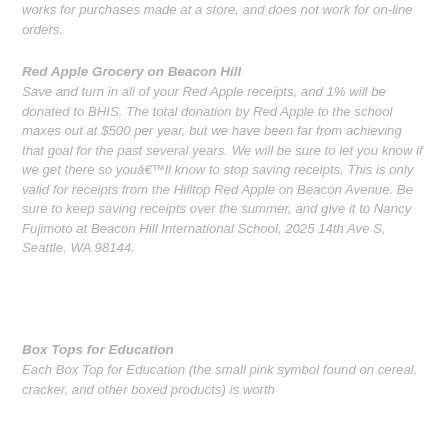works for purchases made at a store, and does not work for on-line orders.
Red Apple Grocery on Beacon Hill
Save and turn in all of your Red Apple receipts, and 1% will be donated to BHIS. The total donation by Red Apple to the school maxes out at $500 per year, but we have been far from achieving that goal for the past several years. We will be sure to let you know if we get there so youâ€™ll know to stop saving receipts. This is only valid for receipts from the Hilltop Red Apple on Beacon Avenue. Be sure to keep saving receipts over the summer, and give it to Nancy Fujimoto at Beacon Hill International School, 2025 14th Ave S, Seattle, WA 98144.
Box Tops for Education
Each Box Top for Education (the small pink symbol found on cereal, cracker, and other boxed products) is worth